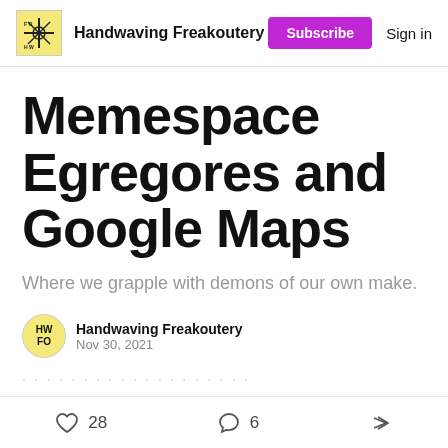Handwaving Freakoutery  Subscribe  Sign in
Memespace Egregores and Google Maps
Where we grapple with demons of our own make.
Handwaving Freakoutery
Nov 30, 2021
28  6